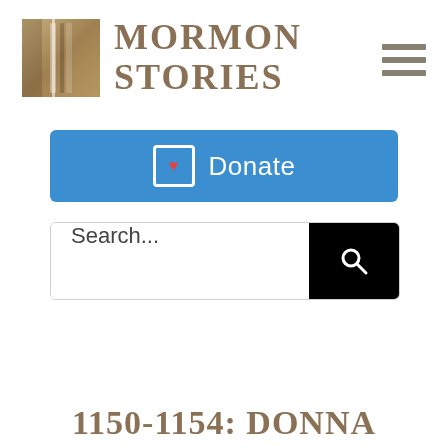[Figure (logo): Mormon Stories logo with golden/tan book icon and serif text reading MORMON STORIES]
1150-1154: DONNA